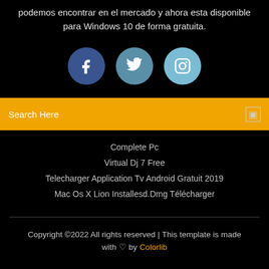podemos encontrar en el mercado y ahora esta disponible para Windows 10 de forma gratuita.
[Figure (illustration): Three social media icon circles: Facebook (dark blue), Twitter (medium blue), Instagram (light blue), each with white icons]
Search Here
Complete Pc
Virtual Dj 7 Free
Telecharger Application Tv Android Gratuit 2019
Mac Os X Lion Installesd.Dmg Télécharger
Copyright ©2022 All rights reserved | This template is made with ♡ by Colorlib